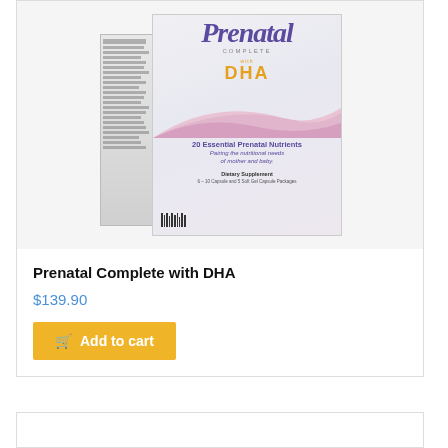[Figure (photo): Product box of Prenatal Complete with DHA dietary supplement, showing front panel with purple brand logo, orange DHA text, pink curved design element, and text '20 Essential Prenatal Nutrients', plus the side panel with nutrition facts]
Prenatal Complete with DHA
$139.90
Add to cart